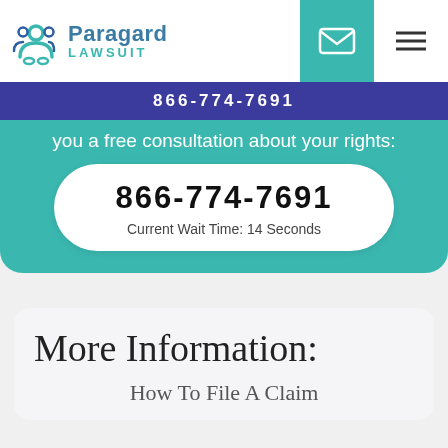[Figure (logo): Paragard Lawsuit logo with teal figure icon, teal and blue text reading 'Paragard LAWSUIT', envelope icon and hamburger menu icon in teal navigation bar]
866-774-7691
you a free consultation about your rights:
866-774-7691
Current Wait Time: 14 Seconds
More Information:
How To File A Claim